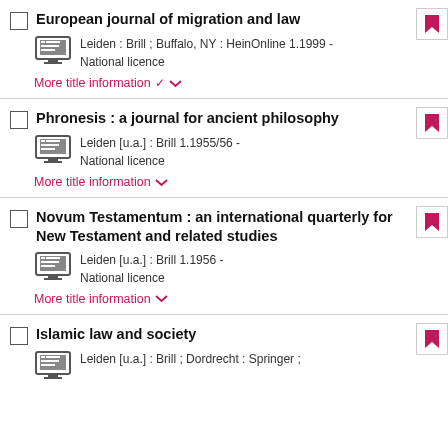European journal of migration and law
Leiden : Brill ; Buffalo, NY : HeinOnline 1.1999 - National licence
More title information
Phronesis : a journal for ancient philosophy
Leiden [u.a.] : Brill 1.1955/56 - National licence
More title information
Novum Testamentum : an international quarterly for New Testament and related studies
Leiden [u.a.] : Brill 1.1956 - National licence
More title information
Islamic law and society
Leiden [u.a.] : Brill ; Dordrecht : Springer ;